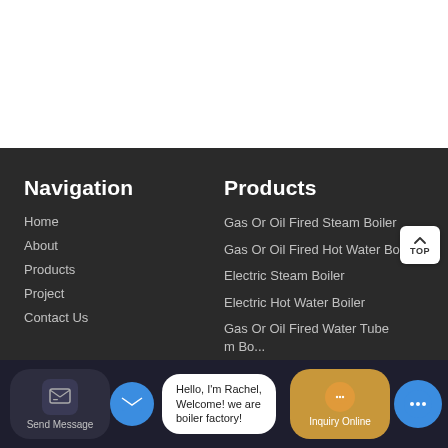Navigation
Home
About
Products
Project
Contact Us
Products
Gas Or Oil Fired Steam Boiler
Gas Or Oil Fired Hot Water Boiler
Electric Steam Boiler
Electric Hot Water Boiler
Gas Or Oil Fired Water Tube Steam Bo...
Hello, I'm Rachel, Welcome! we are boiler factory!
Send Message
Inquiry Online